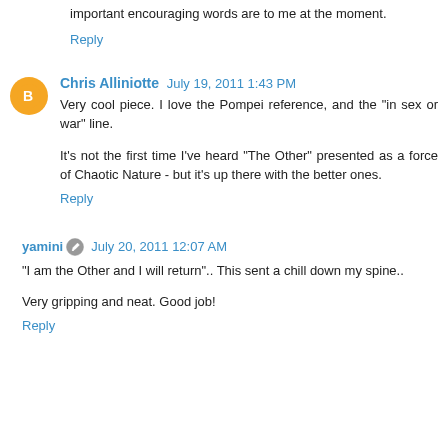important encouraging words are to me at the moment.
Reply
Chris Alliniotte  July 19, 2011 1:43 PM
Very cool piece. I love the Pompei reference, and the "in sex or war" line.
It's not the first time I've heard "The Other" presented as a force of Chaotic Nature - but it's up there with the better ones.
Reply
yamini  July 20, 2011 12:07 AM
"I am the Other and I will return".. This sent a chill down my spine..
Very gripping and neat. Good job!
Reply